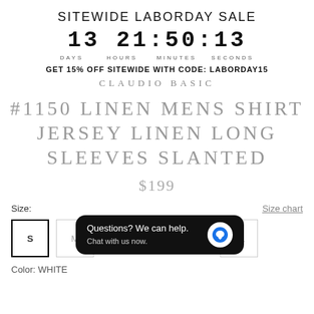SITEWIDE LABORDAY SALE
13 21:50:13
DAYS   HOURS   MINUTES   SECONDS
GET 15% OFF SITEWIDE WITH CODE: LABORDAY15
CLAUDIO BASIC
#1150 LINEN MENS SHIRT JERSEY LINEN LONG SLEEVES SLANTED
$199
Size:
Size chart
S  M  XL
[Figure (screenshot): Chat popup overlay: 'Questions? We can help. Chat with us now.' with blue chat bubble icon on black background]
Color: WHITE